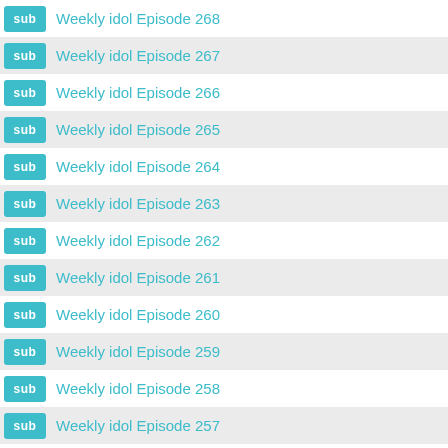sub  Weekly idol Episode 268
sub  Weekly idol Episode 267
sub  Weekly idol Episode 266
sub  Weekly idol Episode 265
sub  Weekly idol Episode 264
sub  Weekly idol Episode 263
sub  Weekly idol Episode 262
sub  Weekly idol Episode 261
sub  Weekly idol Episode 260
sub  Weekly idol Episode 259
sub  Weekly idol Episode 258
sub  Weekly idol Episode 257
sub  Weekly idol Episode 256
sub  Weekly idol Episode 255